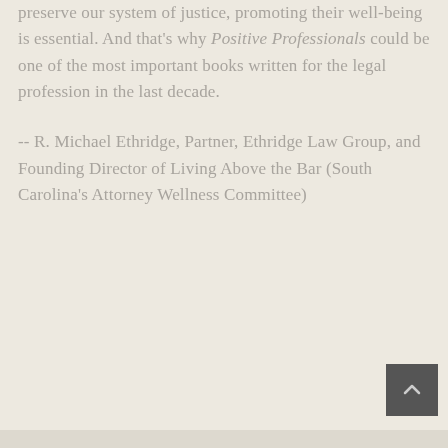preserve our system of justice, promoting their well-being is essential. And that's why Positive Professionals could be one of the most important books written for the legal profession in the last decade.
-- R. Michael Ethridge, Partner, Ethridge Law Group, and Founding Director of Living Above the Bar (South Carolina's Attorney Wellness Committee)